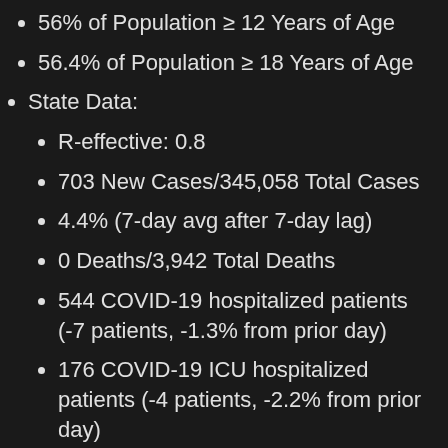56% of Population ≥ 12 Years of Age
56.4% of Population ≥ 18 Years of Age
State Data:
R-effective: 0.8
703 New Cases/345,058 Total Cases
4.4% (7-day avg after 7-day lag)
0 Deaths/3,942 Total Deaths
544 COVID-19 hospitalized patients (-7 patients, -1.3% from prior day)
176 COVID-19 ICU hospitalized patients (-4 patients, -2.2% from prior day)
181 ICU beds available (+0 from prior day)